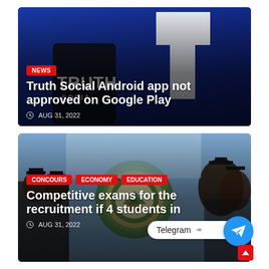[Figure (photo): Dark blue background with Truth Social app logo/branding and smartphone]
NEWS
Truth Social Android app not approved on Google Play
AUG 31, 2022
[Figure (photo): University of Bamenda graduates in academic regalia with university seal]
CONCOURS ECONOMY EDUCATION
Competitive exams for the recruitment if 4 students in
AUG 31, 2022
Telegram